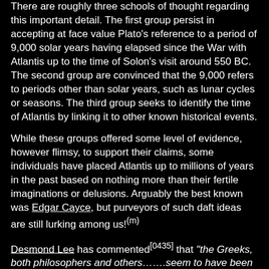There are roughly three schools of thought regarding this important detail. The first group persist in accepting at face value Plato's reference to a period of 9,000 solar years having elapsed since the War with Atlantis up to the time of Solon's visit around 550 BC. The second group are convinced that the 9,000 refers to periods other than solar years, such as lunar cycles or seasons. The third group seeks to identify the time of Atlantis by linking it to other known historical events.
While these groups offered some level of evidence, however flimsy, to support their claims, some individuals have placed Atlantis up to millions of years in the past based on nothing more than their fertile imaginations or delusions. Arguably the best known was Edgar Cayce, but purveyors of such daft ideas are still lurking among us!(m)
Desmond Lee has commented[0435] that "the Greeks, both philosophers and others…….seem to have been curiously lacking in their sense of time-dimension."
[1.0] 9550 BC is factually correct
This view has a slowly dwindling number of supporters